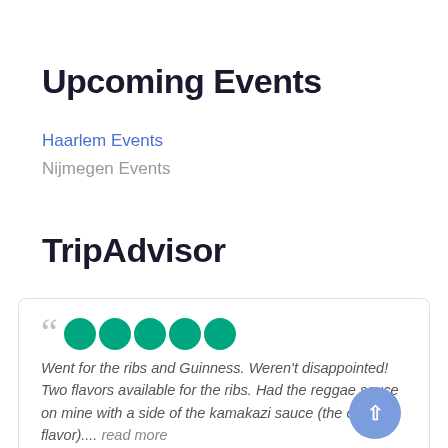Upcoming Events
Haarlem Events
Nijmegen Events
TripAdvisor
Went for the ribs and Guinness. Weren't disappointed! Two flavors available for the ribs. Had the reggae sauce on mine with a side of the kamakazi sauce (the other flavor).... read more